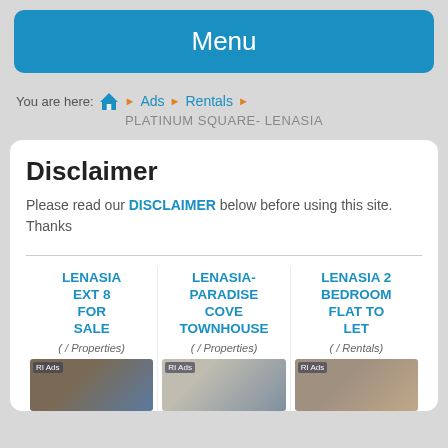Menu
You are here: [home] ▶ Ads ▶ Rentals ▶
PLATINUM SQUARE- LENASIA
Disclaimer
Please read our DISCLAIMER below before using this site. Thanks
LENASIA EXT 8 FOR SALE ( / Properties)
LENASIA- PARADISE COVE TOWNHOUSE ( / Properties)
LENASIA 2 BEDROOM FLAT TO LET ( / Rentals)